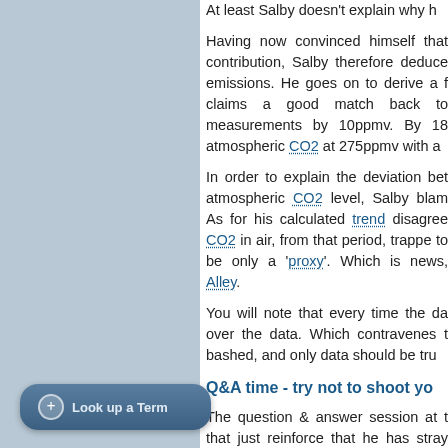At least Salby doesn't explain why h...
Having now convinced himself that contribution, Salby therefore deduces emissions. He goes on to derive a f claims a good match back to measurements by 10ppmv. By 18 atmospheric CO2 at 275ppmv with a
In order to explain the deviation bet atmospheric CO2 level, Salby blam As for his calculated trend disagree CO2 in air, from that period, trappe to be only a 'proxy'. Which is news Alley.
You will note that every time the da over the data. Which contravenes t bashed, and only data should be tru
Q&A time - try not to shoot yo
The question & answer session at t that just reinforce that he has stray understand. Witness:
"I think it's a pitfall that peopl It's not atmospheric CO2, a atmosphere when that rises